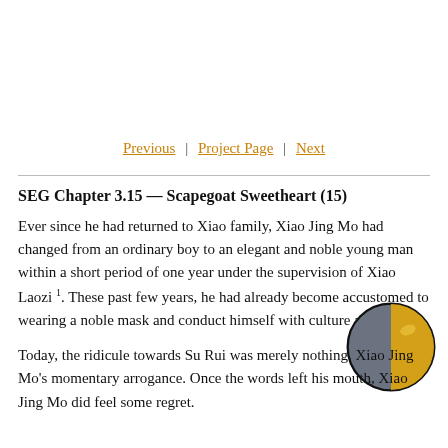Previous | Project Page | Next
SEG Chapter 3.15 — Scapegoat Sweetheart (15)
Ever since he had returned to Xiao family, Xiao Jing Mo had changed from an ordinary boy to an elegant and noble young man within a short period of one year under the supervision of Xiao Laozi 1. These past few years, he had already become accustomed to wearing a noble mask and conduct himself with culture and grace.
Today, the ridicule towards Su Rui was merely nothing. Xiao Jing Mo's momentary arrogance. Once the words left his mouth, Xiao Jing Mo did feel some regret.